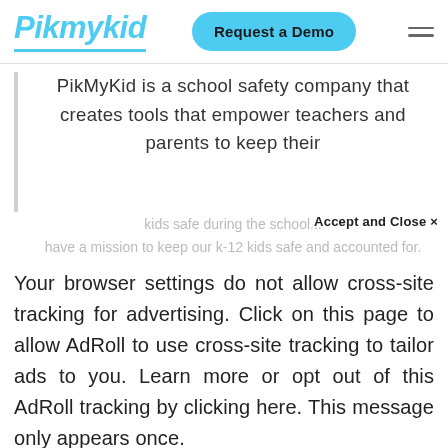[Figure (logo): Pikmykid logo in light blue with underline]
Request a Demo
PikMyKid is a school safety company that creates tools that empower teachers and parents to keep their kids safe during the school... have a mission to keep our k-12 kids safe and accounted for.
Accept and Close ×
Your browser settings do not allow cross-site tracking for advertising. Click on this page to allow AdRoll to use cross-site tracking to tailor ads to you. Learn more or opt out of this AdRoll tracking by clicking here. This message only appears once.